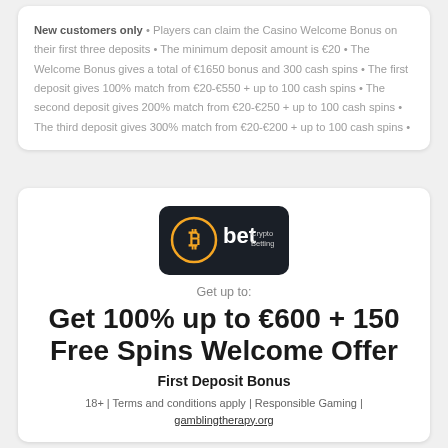New customers only • Players can claim the Casino Welcome Bonus on their first three deposits • The minimum deposit amount is €20 • The Welcome Bonus gives a total of €1650 bonus and 300 cash spins • The first deposit gives 100% match from €20-€550 + up to 100 cash spins • The second deposit gives 200% match from €20-€250 + up to 100 cash spins • The third deposit gives 300% match from €20-€200 + up to 100 cash spins •
[Figure (logo): 13bet Crypto Betting logo — dark rounded square with Bitcoin symbol and 'bet' text]
Get up to:
Get 100% up to €600 + 150 Free Spins Welcome Offer
First Deposit Bonus
18+ | Terms and conditions apply | Responsible Gaming | gamblingtherapy.org